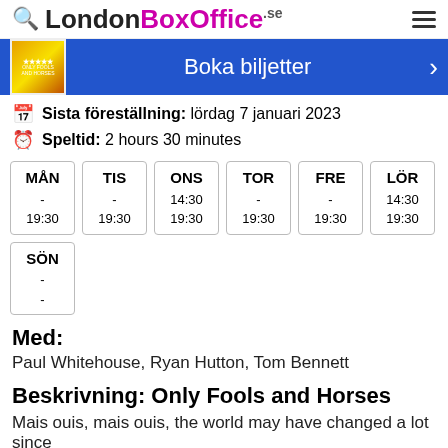LondonBoxOffice.se
[Figure (screenshot): Blue banner with show poster thumbnail and 'Boka biljetter' button with arrow]
Sista föreställning: lördag 7 januari 2023
Speltid: 2 hours 30 minutes
| MÅN | TIS | ONS | TOR | FRE | LÖR | SÖN |
| --- | --- | --- | --- | --- | --- | --- |
| -
19:30 | -
19:30 | 14:30
19:30 | -
19:30 | -
19:30 | 14:30
19:30 | -
- |
Med:
Paul Whitehouse, Ryan Hutton, Tom Bennett
Beskrivning: Only Fools and Horses
Mais ouis, mais ouis, the world may have changed a lot since